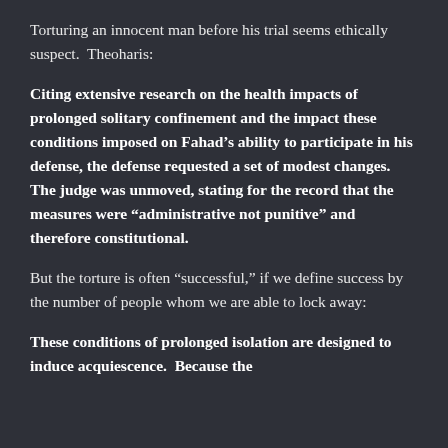Torturing an innocent man before his trial seems ethically suspect.  Theoharis:
Citing extensive research on the health impacts of prolonged solitary confinement and the impact these conditions imposed on Fahad’s ability to participate in his defense, the defense requested a set of modest changes. The judge was unmoved, stating for the record that the measures were “administrative not punitive” and therefore constitutional.
But the torture is often “successful,” if we define success by the number of people whom we are able to lock away:
These conditions of prolonged isolation are designed to induce acquiescence.  Because the